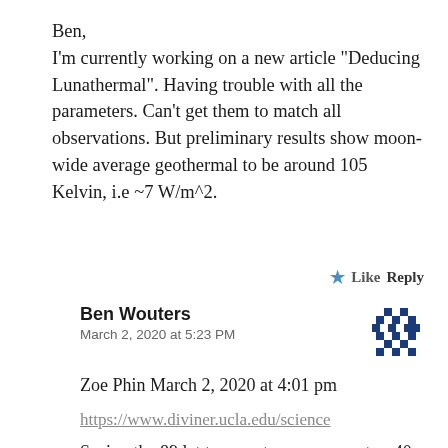Ben,
I'm currently working on a new article “Deducing Lunathermal”. Having trouble with all the parameters. Can’t get them to match all observations. But preliminary results show moon-wide average geothermal to be around 105 Kelvin, i.e ~7 W/m^2.
★ Like  Reply
Ben Wouters
March 2, 2020 at 5:23 PM
Zoe Phin March 2, 2020 at 4:01 pm
https://www.diviner.ucla.edu/science
Seeing the 89 lat temperature converge to ~40-50K after > 120 earth days without sun and the temperature of the Hermite crater (25K) I’d go for ~100 mW/m^2 of geothermal flux.